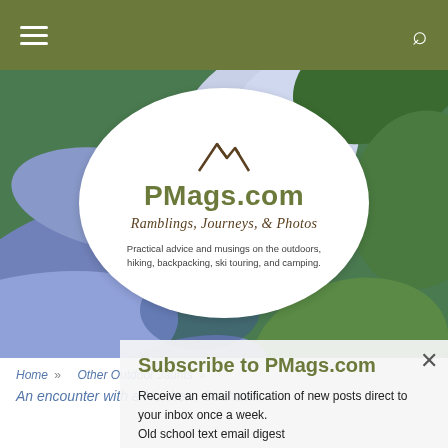PMags.com — navigation bar with hamburger menu and search icon
[Figure (photo): Close-up photo of purple/blue wildflower petals with green foliage background, serving as hero image]
PMags.com
Ramblings, Journeys, & Photos
Practical advice and musings on the outdoors, hiking, backpacking, ski touring, and camping.
Subscribe to PMags.com
Receive an email notification of new posts direct to your inbox once a week.
Old school text email digest
It is easy!
CLICK HERE TO SUBSCRIBE
Home » Other Outdoor Jaunts »
An encounter with a Northern Goshawk »